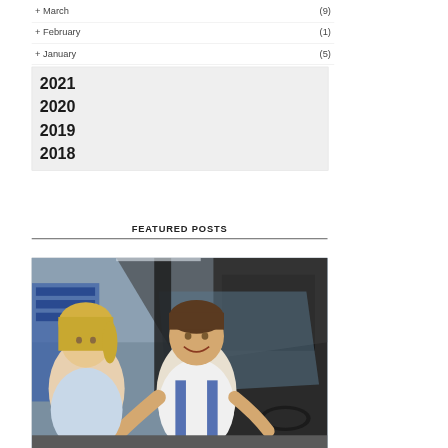+ March (9)
+ February (1)
+ January (5)
2021
2020
2019
2018
FEATURED POSTS
[Figure (photo): A mechanic in blue overalls leaning into a car window, smiling at a blonde woman sitting in the driver's seat, in an auto repair shop setting.]